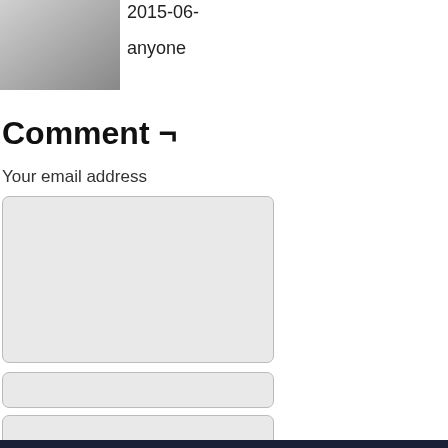[Figure (photo): Gray avatar/profile image placeholder]
2015-06-
anyone
Comment ¬
Your email address
[Figure (screenshot): Comment textarea input box]
[Figure (screenshot): Text input field 1]
[Figure (screenshot): Text input field 2]
[Figure (screenshot): Text input field 3]
Save my name,
Notify me of new
Post Comment
©2006-2022 PS238 by